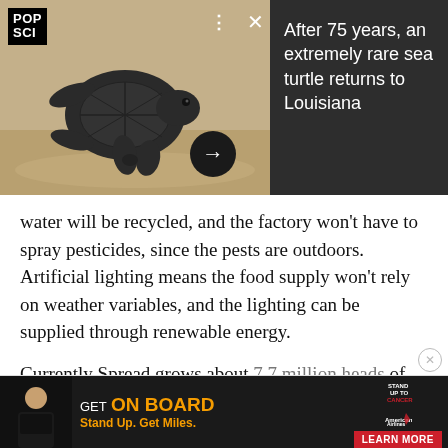[Figure (screenshot): Push notification from Popular Science (POP SCI) showing a baby sea turtle on sandy beach, with text 'After 75 years, an extremely rare sea turtle returns to Louisiana'. Controls: three dots menu, X close button, right arrow navigation button.]
water will be recycled, and the factory won't have to spray pesticides, since the pests are outdoors. Artificial lighting means the food supply won't rely on weather variables, and the lighting can be supplied through renewable energy.
Currently Spread grows about 7.7 million heads of lettuce a year, and sells them at about the same price as regular lettuce. It sounds like the company is hoping
[Figure (screenshot): Advertisement banner: 'GET ON BOARD Stand Up. Get Miles.' with Stand Up To Cancer and American Airlines logos and LEARN MORE button.]